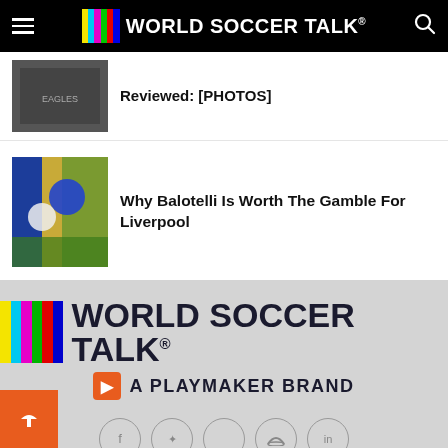World Soccer Talk
Reviewed: [PHOTOS]
Why Balotelli Is Worth The Gamble For Liverpool
[Figure (logo): World Soccer Talk logo - color test bars with site name and 'A Playmaker Brand' tagline]
[Figure (other): Social media icon row: Facebook, Twitter, Apple, unknown, LinkedIn]